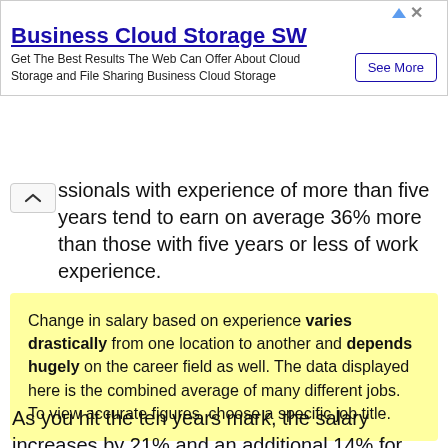[Figure (screenshot): Advertisement banner: Business Cloud Storage SW with 'See More' button and ad icon/close controls]
ssionals with experience of more than five years tend to earn on average 36% more than those with five years or less of work experience.
Change in salary based on experience varies drastically from one location to another and depends hugely on the career field as well. The data displayed here is the combined average of many different jobs. To view accurate figures, choose a specific job title.
As you hit the ten years mark, the salary increases by 21% and an additional 14% for those who have...